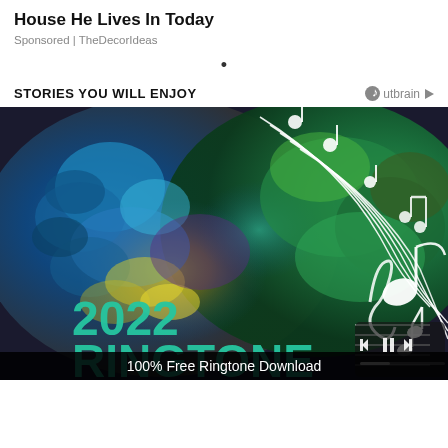House He Lives In Today
Sponsored | TheDecorIdeas
•
STORIES YOU WILL ENJOY
[Figure (illustration): Colorful watercolor music-themed image with musical notes, staff lines, and the text '2022 RINGTONE' overlaid with media player controls at the bottom right. A black banner at the bottom reads '100% Free Ringtone Download'.]
100% Free Ringtone Download